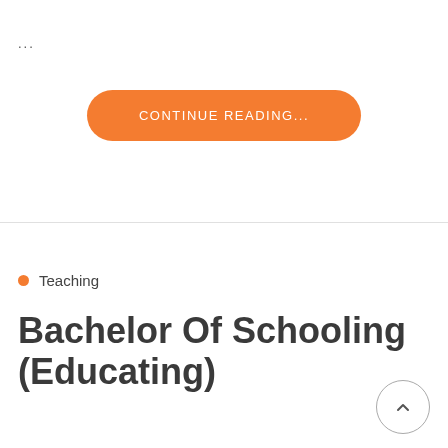...
[Figure (other): Orange pill-shaped button with white uppercase text reading CONTINUE READING...]
Teaching
Bachelor Of Schooling (Educating)